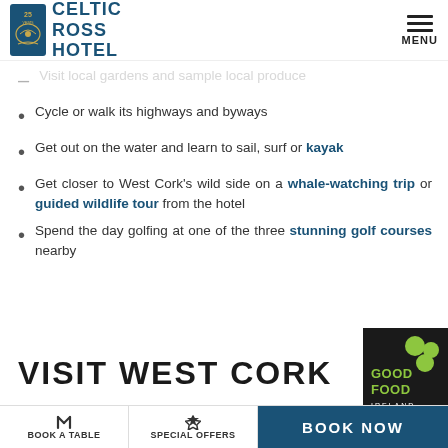Celtic Ross Hotel | MENU
Visit local gardens and sample local produce
Cycle or walk its highways and byways
Get out on the water and learn to sail, surf or kayak
Get closer to West Cork's wild side on a whale-watching trip or guided wildlife tour from the hotel
Spend the day golfing at one of the three stunning golf courses nearby
VISIT WEST CORK
[Figure (logo): Good Food Ireland logo — dark background with green circles and text GOOD FOOD IRELAND]
[Figure (photo): Partial food photo strip at bottom]
BOOK A TABLE | SPECIAL OFFERS | BOOK NOW